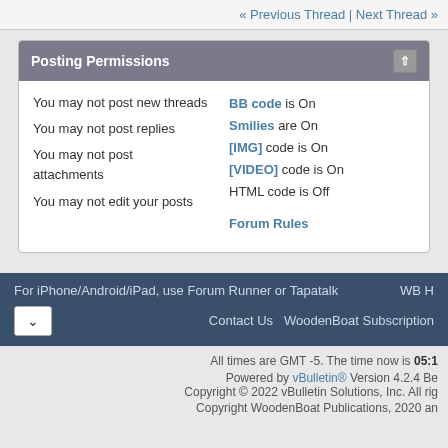« Previous Thread | Next Thread »
Posting Permissions
You may not post new threads
You may not post replies
You may not post attachments
You may not edit your posts
BB code is On
Smilies are On
[IMG] code is On
[VIDEO] code is On
HTML code is Off
Forum Rules
For iPhone/Android/iPad, use Forum Runner or Tapatalk   WB H
Contact Us   WoodenBoat Subscription
All times are GMT -5. The time now is 05:1
Powered by vBulletin® Version 4.2.4 Be Copyright © 2022 vBulletin Solutions, Inc. All rig
Copyright WoodenBoat Publications, 2020 an